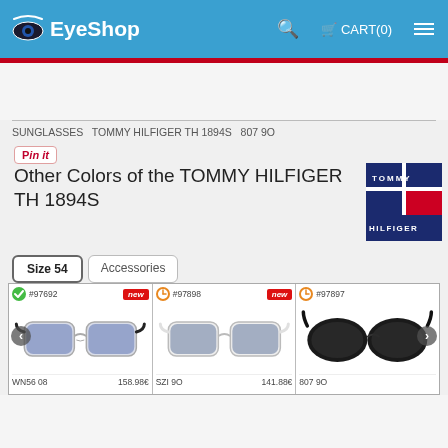EyeShop  🔍  CART(0)  ☰
SUNGLASSES  TOMMY HILFIGER TH 1894S  807 9O
Pin it
Other Colors of the TOMMY HILFIGER TH 1894S
[Figure (logo): Tommy Hilfiger brand logo with navy, white, and red flag design]
Size 54   Accessories
[Figure (other): Three product cards showing Tommy Hilfiger TH 1894S sunglasses in different colors: #97692 (WN56 08, 158.98€), #97898 (SZI 9O, 141.88€), #97897 (807 9O, partial view). First card shows grey/white frame, second shows white frame, third shows black frame.]